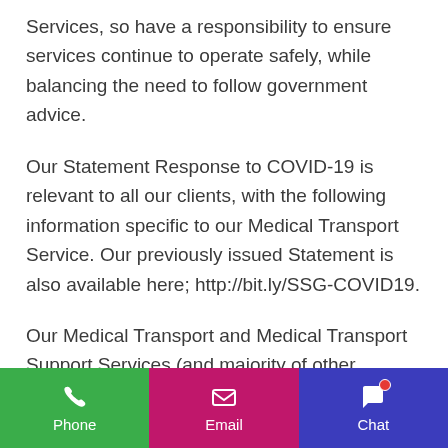Services, so have a responsibility to ensure services continue to operate safely, while balancing the need to follow government advice.
Our Statement Response to COVID-19 is relevant to all our clients, with the following information specific to our Medical Transport Service. Our previously issued Statement is also available here; http://bit.ly/SSG-COVID19.
Our Medical Transport and Medical Transport Support Services (and majority of other services) continue to operate as
Phone  Email  Chat